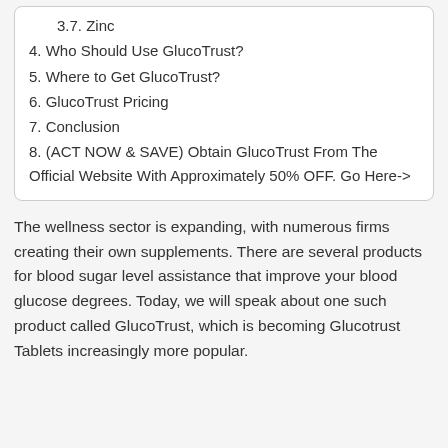3.7. Zinc
4. Who Should Use GlucoTrust?
5. Where to Get GlucoTrust?
6. GlucoTrust Pricing
7. Conclusion
8. (ACT NOW & SAVE) Obtain GlucoTrust From The Official Website With Approximately 50% OFF. Go Here->
The wellness sector is expanding, with numerous firms creating their own supplements. There are several products for blood sugar level assistance that improve your blood glucose degrees. Today, we will speak about one such product called GlucoTrust, which is becoming Glucotrust Tablets increasingly more popular.